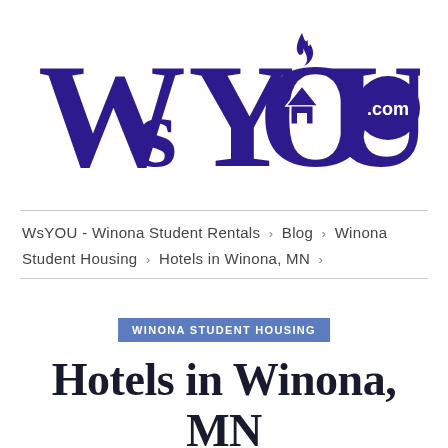[Figure (logo): WsYOU.com logo in dark blue/indigo color. Large stylized text reading WsYOU with a house icon inside the O and a flame above it, followed by a filled circle containing .com in white text.]
WsYOU - Winona Student Rentals > Blog > Winona Student Housing > Hotels in Winona, MN >
WINONA STUDENT HOUSING
Hotels in Winona, MN